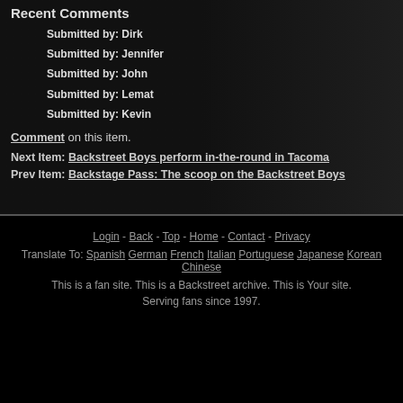Recent Comments
Submitted by: Dirk
Submitted by: Jennifer
Submitted by: John
Submitted by: Lemat
Submitted by: Kevin
Comment on this item.
Next Item: Backstreet Boys perform in-the-round in Tacoma
Prev Item: Backstage Pass: The scoop on the Backstreet Boys
Login - Back - Top - Home - Contact - Privacy
Translate To: Spanish German French Italian Portuguese Japanese Korean Chinese
This is a fan site. This is a Backstreet archive. This is Your site.
Serving fans since 1997.